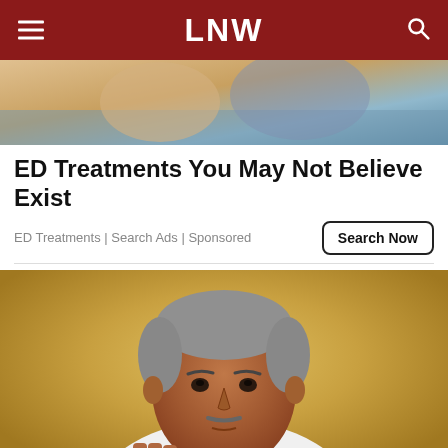LNW
[Figure (photo): Photo of two people, partially visible, used as advertisement banner image]
ED Treatments You May Not Believe Exist
ED Treatments | Search Ads | Sponsored
[Figure (photo): Portrait photo of an older South Asian man with grey hair, wearing a white shirt with a red scarf/sash, raising his fist, against a golden/yellow background]